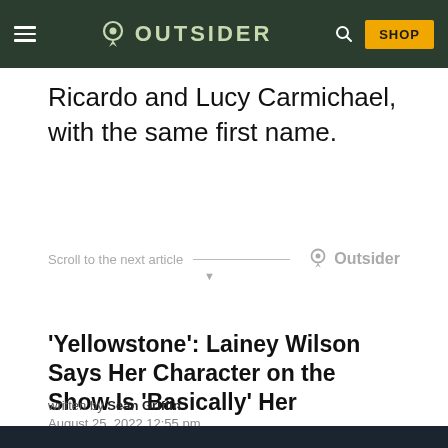OUTSIDER — navigation bar with hamburger menu, logo, search icon, SHOP button
Ricardo and Lucy Carmichael, with the same first name.
Scroll to the next article
'Yellowstone': Lainey Wilson Says Her Character on the Show Is 'Basically' Her
written by Sean Griffin
August 25, 2022 12:55 pm